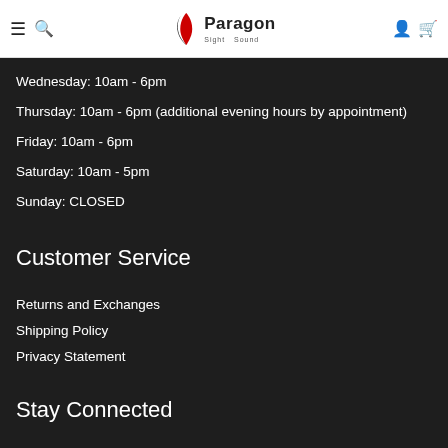Paragon Sight Sound — navigation header
Wednesday: 10am - 6pm
Thursday: 10am - 6pm (additional evening hours by appointment)
Friday: 10am - 6pm
Saturday: 10am - 5pm
Sunday: CLOSED
Customer Service
Returns and Exchanges
Shipping Policy
Privacy Statement
Stay Connected